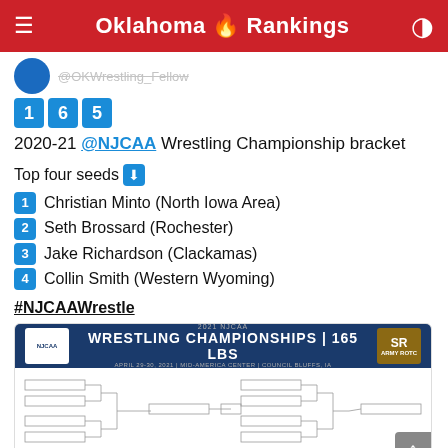Oklahoma 🔥 Rankings
@OKWrestling_Fellow
165
2020-21 @NJCAA Wrestling Championship bracket
Top four seeds ⬇
1 Christian Minto (North Iowa Area)
2 Seth Brossard (Rochester)
3 Jake Richardson (Clackamas)
4 Collin Smith (Western Wyoming)
#NJCAAWrestle
[Figure (other): NJCAA Wrestling Championships 165 LBS bracket image showing tournament draw with boxes and connecting lines]